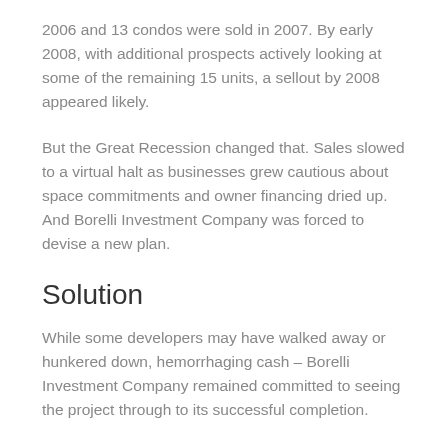2006 and 13 condos were sold in 2007. By early 2008, with additional prospects actively looking at some of the remaining 15 units, a sellout by 2008 appeared likely.
But the Great Recession changed that. Sales slowed to a virtual halt as businesses grew cautious about space commitments and owner financing dried up. And Borelli Investment Company was forced to devise a new plan.
Solution
While some developers may have walked away or hunkered down, hemorrhaging cash – Borelli Investment Company remained committed to seeing the project through to its successful completion.
Initially, Junction Office Center's marketing included a mix of traditional media and modern approaches...